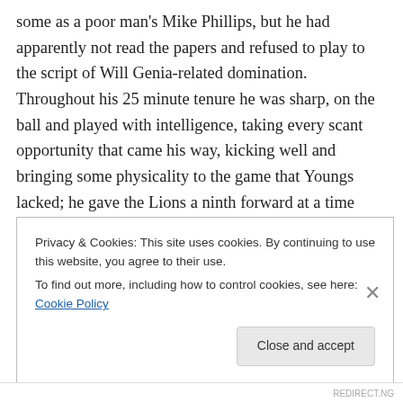some as a poor man's Mike Phillips, but he had apparently not read the papers and refused to play to the script of Will Genia-related domination. Throughout his 25 minute tenure he was sharp, on the ball and played with intelligence, taking every scant opportunity that came his way, kicking well and bringing some physicality to the game that Youngs lacked; he gave the Lions a ninth forward at a time when it was most needed. Now, with Phillips looking set to be fit for the crucial third and deciding test, Warren Gatland has the unenviable task of trying to choose between them. I only hope his eventual
Privacy & Cookies: This site uses cookies. By continuing to use this website, you agree to their use.
To find out more, including how to control cookies, see here: Cookie Policy
Close and accept
REDIRECT.NG